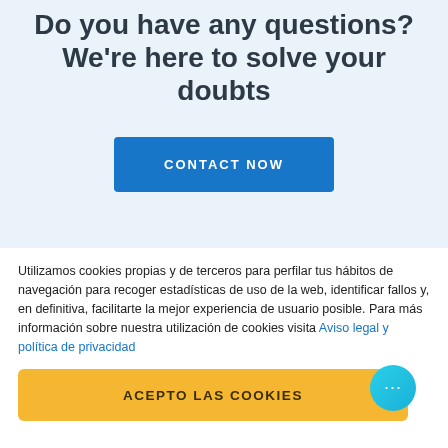Do you have any questions? We're here to solve your doubts
CONTACT NOW
Utilizamos cookies propias y de terceros para perfilar tus hábitos de navegación para recoger estadísticas de uso de la web, identificar fallos y, en definitiva, facilitarte la mejor experiencia de usuario posible. Para más información sobre nuestra utilización de cookies visita Aviso legal y política de privacidad
ACEPTO LAS COOKIES